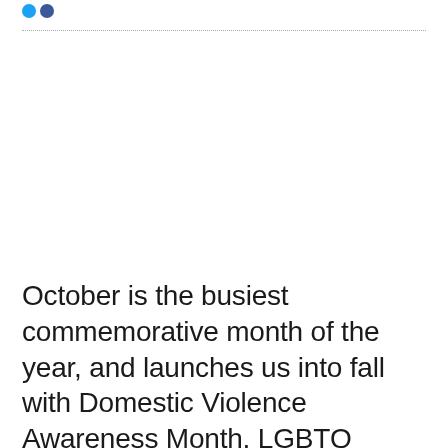October is the busiest commemorative month of the year, and launches us into fall with Domestic Violence Awareness Month, LGBTQ History Month, Breastfeeding Awareness Month, and as you may already